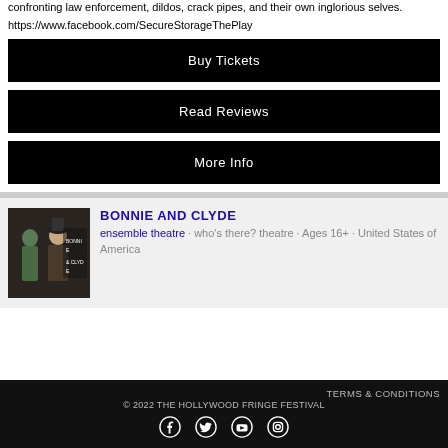confronting law enforcement, dildos, crack pipes, and their own inglorious selves.
https://www.facebook.com/SecureStorageThePlay
Buy Tickets
Read Reviews
More Info
[Figure (photo): Bonnie and Clyde promotional photo showing two performers in period costume against a dark backdrop with show signage]
BONNIE AND CLYDE
ensemble theatre · who's there? theatre · Ages 16+ · United States of America
TERMS & CONDITIONS © 2022 THE HOLLYWOOD FRINGE FESTIVAL